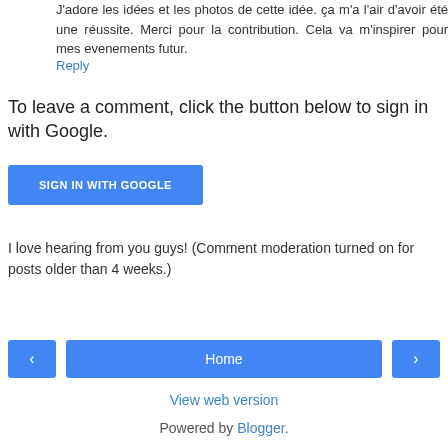J'adore les idées et les photos de cette idée. ça m'a l'air d'avoir été une réussite. Merci pour la contribution. Cela va m'inspirer pour mes evenements futur.
Reply
To leave a comment, click the button below to sign in with Google.
SIGN IN WITH GOOGLE
I love hearing from you guys! (Comment moderation turned on for posts older than 4 weeks.)
‹
Home
›
View web version
Powered by Blogger.